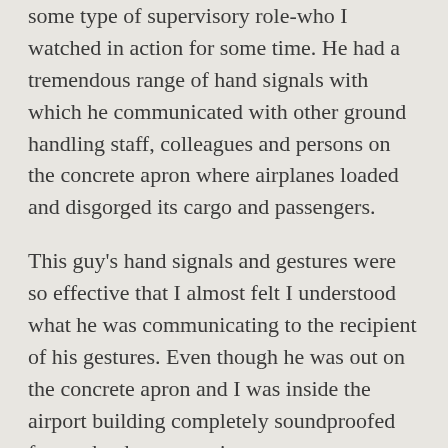some type of supervisory role-who I watched in action for some time. He had a tremendous range of hand signals with which he communicated with other ground handling staff, colleagues and persons on the concrete apron where airplanes loaded and disgorged its cargo and passengers.
This guy's hand signals and gestures were so effective that I almost felt I understood what he was communicating to the recipient of his gestures. Even though he was out on the concrete apron and I was inside the airport building completely soundproofed from what he was saying.
It reminded me of the powerful value of effective communication with your audience, regardless of who your audience is or what language they are comfortable with. This guy had adapted and improved his language...